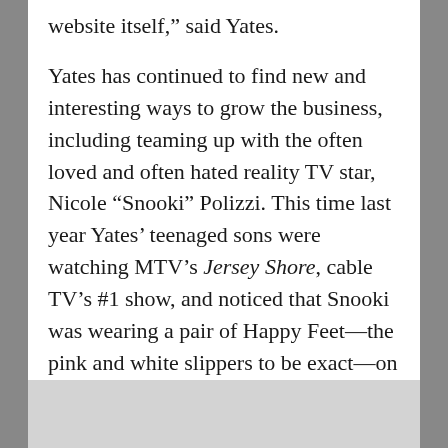website itself," said Yates.
Yates has continued to find new and interesting ways to grow the business, including teaming up with the often loved and often hated reality TV star, Nicole “Snooki” Polizzi. This time last year Yates’ teenaged sons were watching MTV’s Jersey Shore, cable TV’s #1 show, and noticed that Snooki was wearing a pair of Happy Feet—the pink and white slippers to be exact—on the show.
“She bought them herself,” Yates noted.